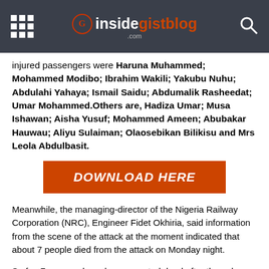insidegistblog.com
injured passengers were Haruna Muhammed; Mohammed Modibo; Ibrahim Wakili; Yakubu Nuhu; Abdulahi Yahaya; Ismail Saidu; Abdumalik Rasheedat; Umar Mohammed.Others are, Hadiza Umar; Musa Ishawan; Aisha Yusuf; Mohammed Ameen; Abubakar Hauwau; Aliyu Sulaiman; Olaosebikan Bilikisu and Mrs Leola Abdulbasit.
[Figure (other): Orange download button reading DOWNLOAD HERE]
Meanwhile, the managing-director of the Nigeria Railway Corporation (NRC), Engineer Fidet Okhiria, said information from the scene of the attack at the moment indicated that about 7 people died from the attack on Monday night.
So far, 7 persons have been reported dead after the ugly bombing incident of the Abuja-Kaduna Train on Monday night. The list of